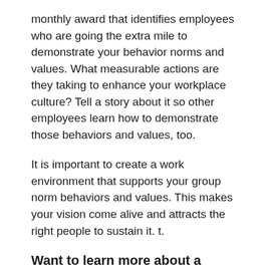monthly award that identifies employees who are going the extra mile to demonstrate your behavior norms and values. What measurable actions are they taking to enhance your workplace culture? Tell a story about it so other employees learn how to demonstrate those behaviors and values, too.
It is important to create a work environment that supports your group norm behaviors and values. This makes your vision come alive and attracts the right people to sustain it. t.
Want to learn more about a healthy workplace culture?
The following resources take this